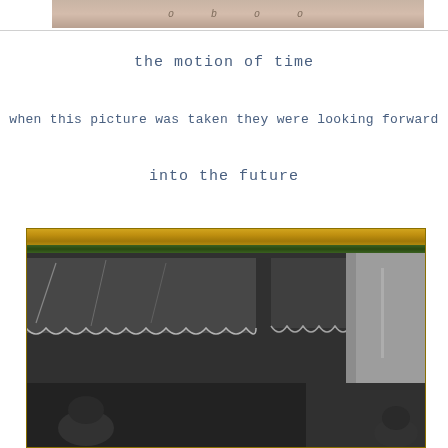[Figure (photo): Top portion of a photo showing a face/portrait, partially cropped, with decorative italic text overlay]
the motion of time
when this picture was taken they were looking forward
into the future
[Figure (photo): A framed black-and-white photograph shown through glass with a gold/brass frame top. The image shows a house exterior with decorative awnings and architectural details. A figure is partially visible at the bottom.]